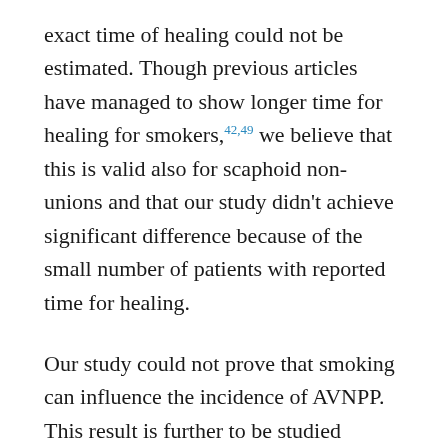exact time of healing could not be estimated. Though previous articles have managed to show longer time for healing for smokers,42,49 we believe that this is valid also for scaphoid non-unions and that our study didn't achieve significant difference because of the small number of patients with reported time for healing.
Our study could not prove that smoking can influence the incidence of AVNPP. This result is further to be studied because we had no data for the most important factor that leads to AVNPP, which is the site of the fracture in the scaphoid bone in each patient.50